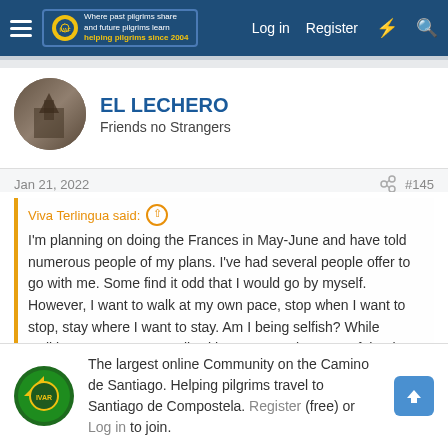Forum navigation bar with Log in, Register links
EL LECHERO
Friends no Strangers
Jan 21, 2022   #145
Viva Terlingua said:
I'm planning on doing the Frances in May-June and have told numerous people of my plans. I've had several people offer to go with me. Some find it odd that I would go by myself. However, I want to walk at my own pace, stop when I want to stop, stay where I want to stay. Am I being selfish? While walking I'm content to walk with someone else 25% of the time but the rest of the time I prefer to walk solo. Once reaching my destination or even stopping for a break I love
The largest online Community on the Camino de Santiago. Helping pilgrims travel to Santiago de Compostela. Register (free) or Log in to join.